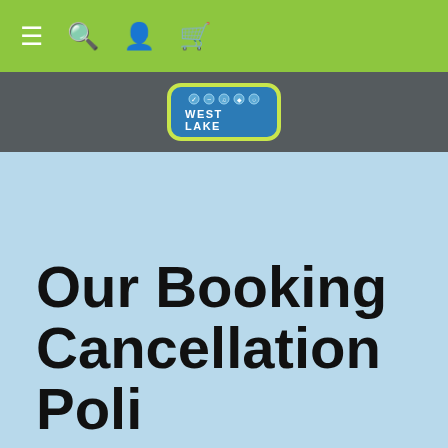Navigation bar with menu, search, account, and cart icons
[Figure (logo): West Lake logo: blue rounded rectangle with yellow-green border, activity icons on top, text WEST LAKE below in white on dark blue background]
Our Booking Cancellation Poli...